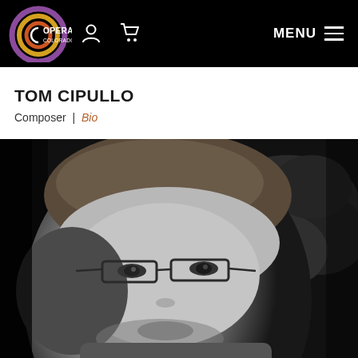[Figure (logo): Opera Colorado logo — circular swirl design in purple, gold, and orange with text 'OPERA COLORADO']
TOM CIPULLO
Composer | Bio
[Figure (photo): Black and white close-up portrait photo of Tom Cipullo, a middle-aged man with glasses, short grey/brown hair, and a light beard, with foliage in the background]